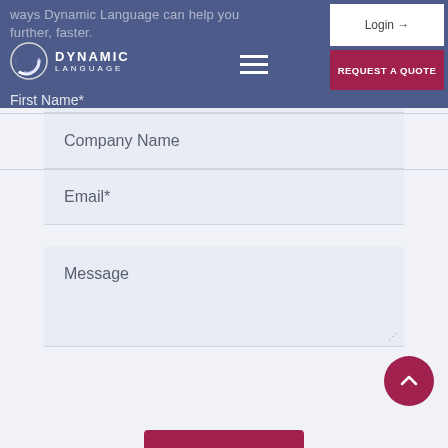ways Dynamic Language can help you further, faster.
[Figure (logo): Dynamic Language logo with crescent circle icon and company name]
Login →
REQUEST A QUOTE
First Name*
Last Name *
Phone Number
Company Name
Email*
Message